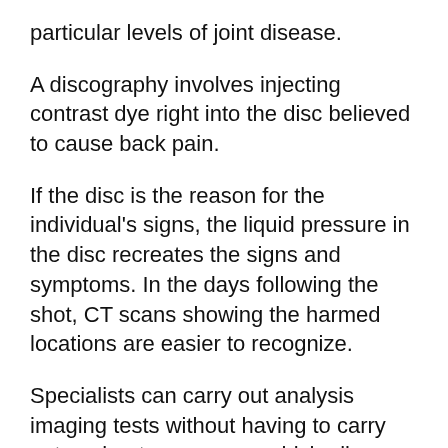particular levels of joint disease.
A discography involves injecting contrast dye right into the disc believed to cause back pain.
If the disc is the reason for the individual's signs, the liquid pressure in the disc recreates the signs and symptoms. In the days following the shot, CT scans showing the harmed locations are easier to recognize.
Specialists can carry out analysis imaging tests without having to carry out exploratory surgery, which allows them to see into the body. Amongst the pictures are:
An x ray can not expose soft cells structures